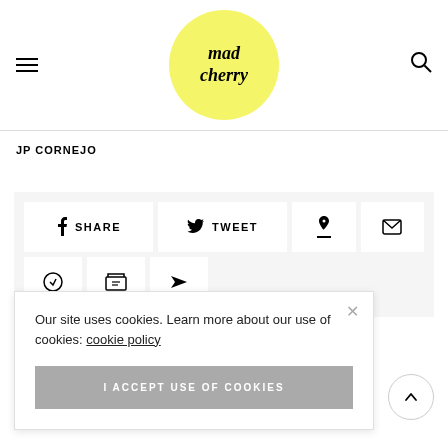mad cherry logo with hamburger menu and search icon
JP CORNEJO
[Figure (screenshot): Social share buttons row: SHARE (Facebook), TWEET (Twitter), Pinterest icon, Email icon; second row: print, bookmark, send icons]
Our site uses cookies. Learn more about our use of cookies: cookie policy
I ACCEPT USE OF COOKIES